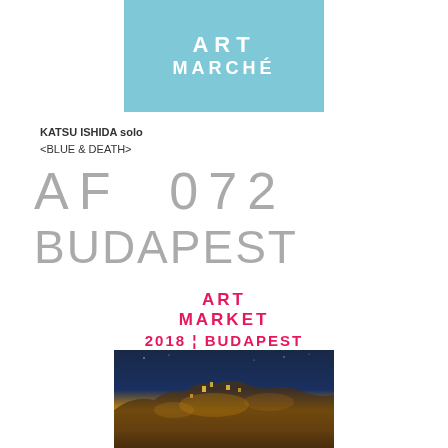[Figure (logo): Art Marché logo — light blue rectangle with white bold text reading ART MARCHÉ]
KATSU ISHIDA solo
<BLUE & DEATH>
AF  072
BUDAPEST
[Figure (logo): ART MARKET 2018 BUDAPEST logo in bold pink/red text]
[Figure (photo): Night aerial photo of Budapest cityscape with illuminated buildings and city lights]